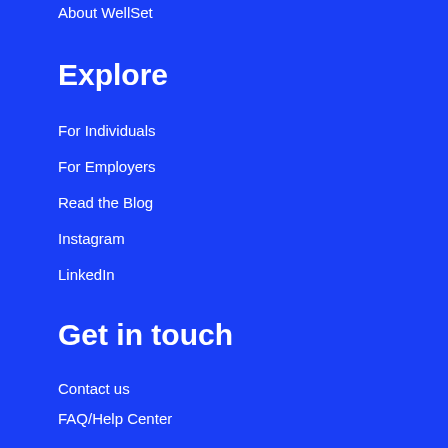About WellSet
Explore
For Individuals
For Employers
Read the Blog
Instagram
LinkedIn
Get in touch
Contact us
FAQ/Help Center
Privacy Policy
Terms of Use